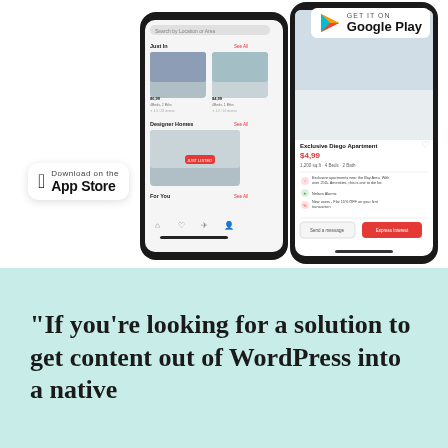[Figure (screenshot): Two smartphone mockups showing a real estate rental app UI. Left phone shows a listing grid with 'Just In' and 'Designer Homes' sections. Right phone shows an 'Exclusive Diego Apartment' listing at $4,99 with bedroom photo, details, amenities and action buttons. App Store badge visible on left, Google Play badge on upper right.]
"If you're looking for a solution to get content out of WordPress into a native